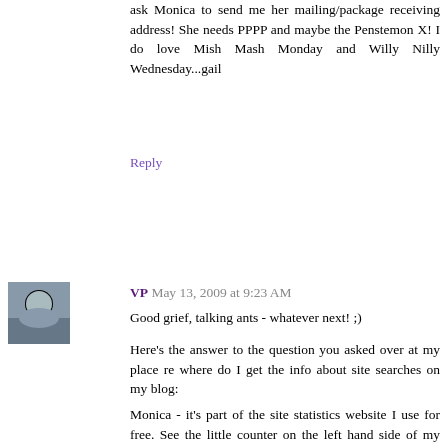ask Monica to send me her mailing/package receiving address! She needs PPPP and maybe the Penstemon X! I do love Mish Mash Monday and Willy Nilly Wednesday...gail
Reply
VP May 13, 2009 at 9:23 AM
Good grief, talking ants - whatever next! ;)
Here's the answer to the question you asked over at my place re where do I get the info about site searches on my blog:
Monica - it's part of the site statistics website I use for free. See the little counter on the left hand side of my blog? That's it. Most people seem to use the one I use (Statcounter) or Sitemeter. If you find them on people's blogs, just clicking on the logo will take you to further information. Most of them are free unless you sign up for the super de-luxe all singing all dancing package, which isn't needed unless you're getting 100s of visitors per day.